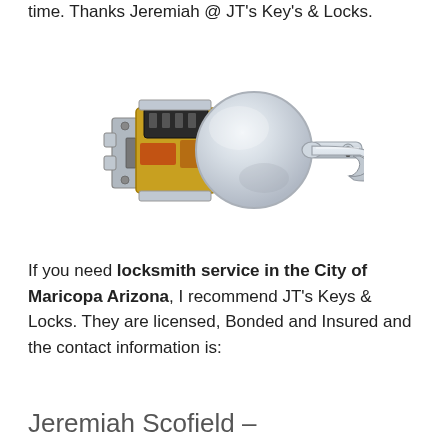time. Thanks Jeremiah @ JT's Key's & Locks.
[Figure (photo): A chrome lever door lock/lockset with visible internal mechanism showing brass components and latch bolt assembly.]
If you need locksmith service in the City of Maricopa Arizona, I recommend JT's Keys & Locks. They are licensed, Bonded and Insured and the contact information is:
Jeremiah Scofield –